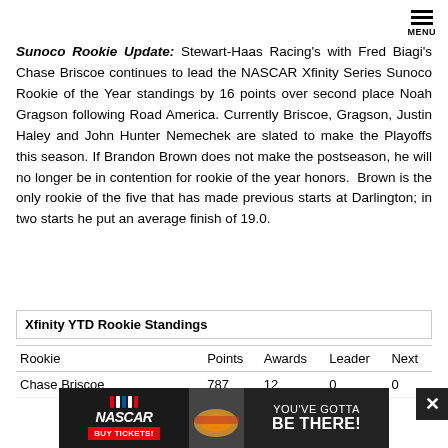MENU
Sunoco Rookie Update: Stewart-Haas Racing's with Fred Biagi's Chase Briscoe continues to lead the NASCAR Xfinity Series Sunoco Rookie of the Year standings by 16 points over second place Noah Gragson following Road America. Currently Briscoe, Gragson, Justin Haley and John Hunter Nemechek are slated to make the Playoffs this season. If Brandon Brown does not make the postseason, he will no longer be in contention for rookie of the year honors.  Brown is the only rookie of the five that has made previous starts at Darlington; in two starts he put an average finish of 19.0.
| Rookie | Points | Awards | Leader | Next |
| --- | --- | --- | --- | --- |
| Chase Briscoe | 787 | 12 | 0 | 0 |
[Figure (infographic): NASCAR advertisement banner: NASCAR logo with 'BUY TICKETS!' button on left, text 'YOU'VE GOTTA BE THERE!' on right with race car image]